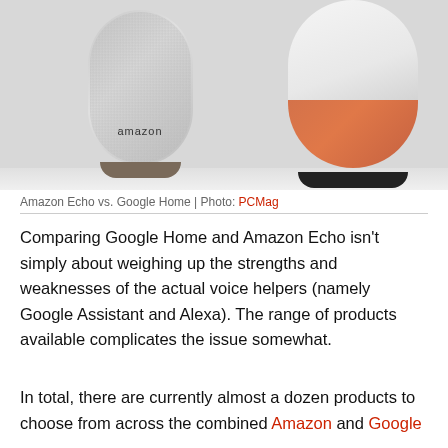[Figure (photo): Amazon Echo (grey fabric cylindrical smart speaker) and Google Home (white top with orange/terracotta base cylindrical smart speaker) side by side on a white surface]
Amazon Echo vs. Google Home | Photo: PCMag
Comparing Google Home and Amazon Echo isn't simply about weighing up the strengths and weaknesses of the actual voice helpers (namely Google Assistant and Alexa). The range of products available complicates the issue somewhat.
In total, there are currently almost a dozen products to choose from across the combined Amazon and Google